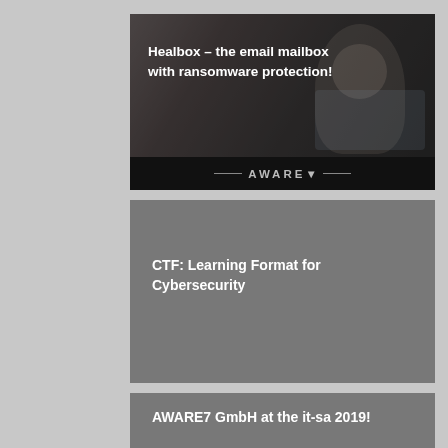[Figure (photo): Dark photo of a woman at a laptop with overlay text about Healbox email mailbox with ransomware protection, AWARE7 logo at bottom]
Healbox – the email mailbox with ransomware protection!
[Figure (photo): Gray card with title CTF: Learning Format for Cybersecurity]
CTF: Learning Format for Cybersecurity
[Figure (photo): Gray card with title AWARE7 GmbH at the it-sa 2019!]
AWARE7 GmbH at the it-sa 2019!